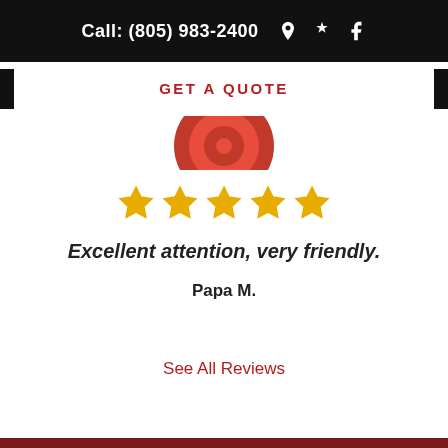Call: (805) 983-2400
GET A QUOTE
[Figure (logo): Partial logo with red circular design, partially cropped at top]
[Figure (other): Five gold star rating icons]
Excellent attention, very friendly.
Papa M.
See All Reviews